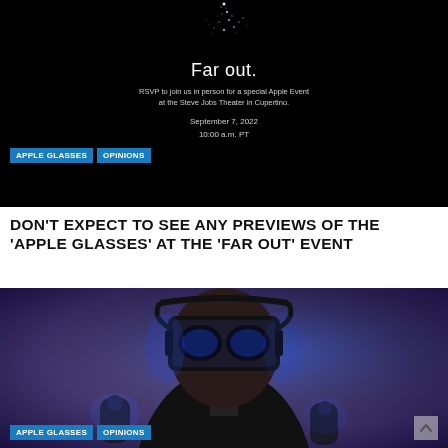[Figure (photo): Apple Event invitation showing 'Far out.' text on black background with star/dot cluster graphic, RSVP text 'RSVP to join us in person for a special Apple Event at the Steve Jobs Theater in Cupertino.' and date 'September 7, 2022, 10:00 a.m. PT', with 'APPLE GLASSES' and 'OPINIONS' category tags overlaid]
DON'T EXPECT TO SEE ANY PREVIEWS OF THE 'APPLE GLASSES' AT THE 'FAR OUT' EVENT
[Figure (photo): Person wearing VR/AR headset (black, with blue accent lighting) and holding motion controllers, lit with purple/blue ambient lighting, wearing dark clothing. 'APPLE GLASSES' and 'OPINIONS' category tags overlaid at bottom left, scroll-up arrow at bottom right.]